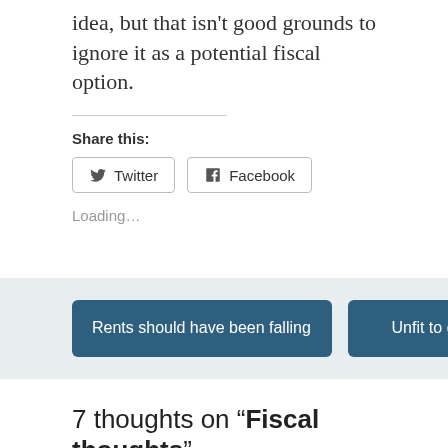idea, but that isn't good grounds to ignore it as a potential fiscal option.
Share this:
Twitter
Facebook
Loading...
Rents should have been falling
Unfit to govern?
7 thoughts on “Fiscal thoughts”